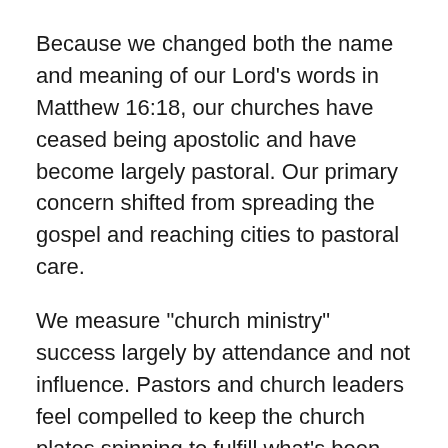Because we changed both the name and meaning of our Lord's words in Matthew 16:18, our churches have ceased being apostolic and have become largely pastoral. Our primary concern shifted from spreading the gospel and reaching cities to pastoral care.
We measure "church ministry" success largely by attendance and not influence. Pastors and church leaders feel compelled to keep the church plates spinning to fulfill what's been determined as a successful ministry. This drives pastors and leaders to the brink of godless competition, joyless exhaustion, and career-ending depression.
Jesus never commissioned us to sit within the walls of buildings and “do” church but to engage with culture as the Ekklesia. The Ekklesia was created to take the